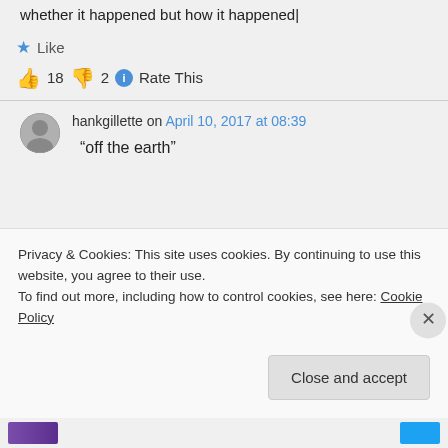whether it happened but how it happened|
★ Like
👍 18 👎 2 ℹ Rate This
hankgillette on April 10, 2017 at 08:39
“off the earth”
Privacy & Cookies: This site uses cookies. By continuing to use this website, you agree to their use.
To find out more, including how to control cookies, see here: Cookie Policy
Close and accept